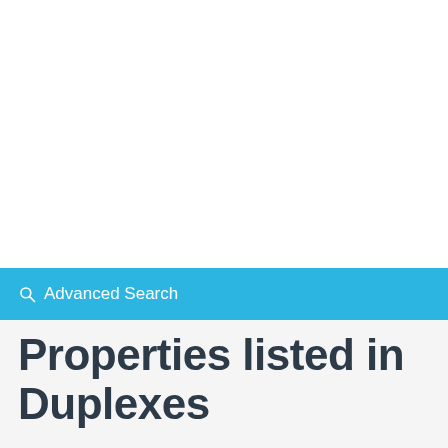Advanced Search
Properties listed in Duplexes